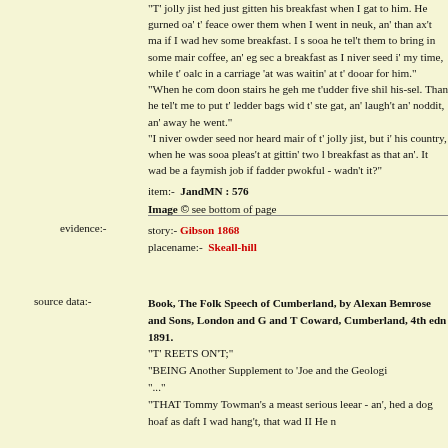"T' jolly jist hed just gitten his breakfast when I gat to him. He gurned oa' t' feace ower them when I went in neuk, an' than ax't ma if I wad hev some breakfast. I s sooa he tel't them to bring in some mair coffee, an' eg sec a breakfast as I niver seed i' my time, while t' oalc in a carriage 'at was waitin' at t' dooar for him." "When he com doon stairs he geh me t'udder five shil his-sel. Than he tel't me to put t' ledder bags wid t' ste gat, an' laugh't an' noddit, an' away he went." "I niver owder seed nor heard mair of t' jolly jist, but i' his country, when he was sooa pleas't at gittin' two l breakfast as that an'. It wad be a faymish job if fadder pwokful - wadn't it?"
item:-  JandMN : 576
Image © see bottom of page
evidence:-  story:- Gibson 1868  placename:- Skeall-hill
source data:- Book, The Folk Speech of Cumberland, by Alexander Bemrose and Sons, London and G and T Coward, Cumberland, 4th edn 1891. "T' REETS ON'T;" "BEING Another Supplement to 'Joe and the Geologi "..." "THAT Tommy Towman's a meast serious leear - an', hed a dog hoaf as daft I wad hang't, that wad II He n